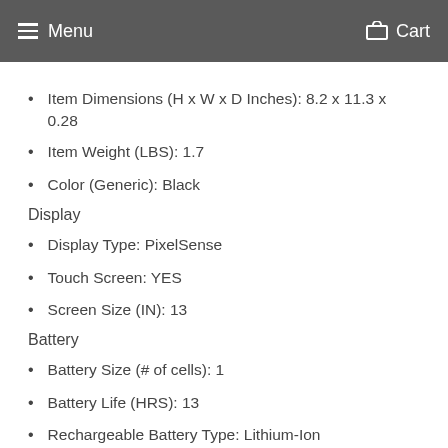Menu   Cart
Item Dimensions (H x W x D Inches): 8.2 x 11.3 x 0.28
Item Weight (LBS): 1.7
Color (Generic): Black
Display
Display Type: PixelSense
Touch Screen: YES
Screen Size (IN): 13
Battery
Battery Size (# of cells): 1
Battery Life (HRS): 13
Rechargeable Battery Type: Lithium-Ion